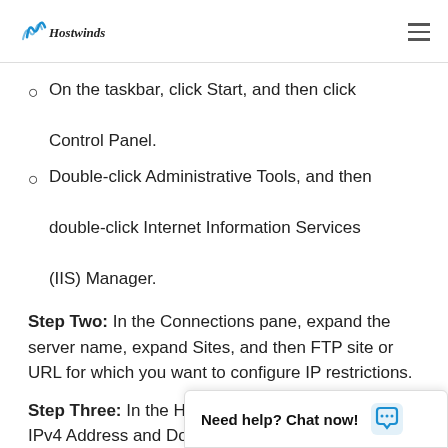Hostwinds
On the taskbar, click Start, and then click Control Panel.
Double-click Administrative Tools, and then double-click Internet Information Services (IIS) Manager.
Step Two: In the Connections pane, expand the server name, expand Sites, and then FTP site or URL for which you want to configure IP restrictions.
Step Three: In the Ho... IPv4 Address and Do...